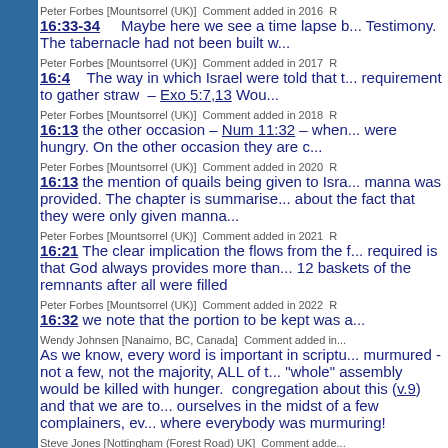Peter Forbes [Mountsorrel (UK)]  Comment added in 2016
16:33-34    Maybe here we see a time lapse b... Testimony. The tabernacle had not been built w...
Peter Forbes [Mountsorrel (UK)]  Comment added in 2017
16:4   The way in which Israel were told that t... requirement to gather straw  – Exo 5:7,13 Wou...
Peter Forbes [Mountsorrel (UK)]  Comment added in 2018
16:13 the other occasion – Num 11:32 – when... were hungry. On the other occasion they are c...
Peter Forbes [Mountsorrel (UK)]  Comment added in 2020
16:13 the mention of quails being given to Isra... manna was provided. The chapter is summarise... about the fact that they were only given manna...
Peter Forbes [Mountsorrel (UK)]  Comment added in 2021
16:21 The clear implication the flows from the f... required is that God always provides more than... 12 baskets of the remnants after all were filled
Peter Forbes [Mountsorrel (UK)]  Comment added in 2022
16:32 we note that the portion to be kept was a...
Wendy Johnsen [Nanaimo, BC, Canada]  Comment added in...
As we know, every word is important in scriptu... murmured - not a few, not the majority, ALL of t... "whole" assembly would be killed with hunger.... congregation about this (v.9) and that we are to... ourselves in the midst of a few complainers, ev... where everybody was murmuring!
Steve Jones [Nottingham (Forest Road) UK]  Comment adde...
16:5 - is this an encouragement to faithful belie... 16:15,22,23,31; John 6:51,58 - we note the me... Christ being the manna/bread that can sustain...